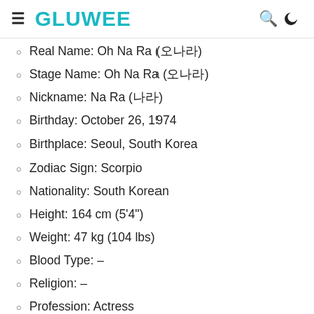GLUWEE
Real Name: Oh Na Ra (오나라)
Stage Name: Oh Na Ra (오나라)
Nickname: Na Ra (나라)
Birthday: October 26, 1974
Birthplace: Seoul, South Korea
Zodiac Sign: Scorpio
Nationality: South Korean
Height: 164 cm (5'4")
Weight: 47 kg (104 lbs)
Blood Type: –
Religion: –
Profession: Actress
Education:
Kyunghee University (Department of Dance):